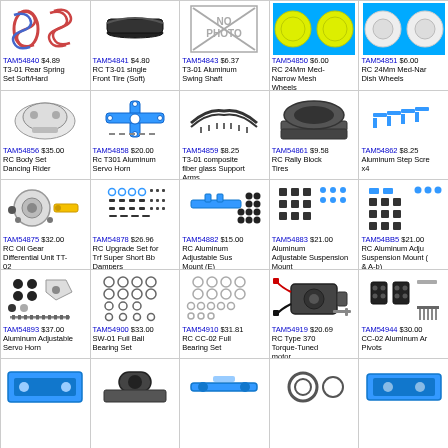[Figure (photo): TAM54840 T3-01 Rear Spring Set Soft/Hard - coil springs]
TAM54840 $4.89 T3-01 Rear Spring Set Soft/Hard
[Figure (photo): TAM54841 RC T3-01 single Front Tire (Soft)]
TAM54841 $4.80 RC T3-01 single Front Tire (Soft)
[Figure (photo): TAM54843 No Photo placeholder]
TAM54843 $6.37 T3-01 Aluminum Swing Shaft
[Figure (photo): TAM54850 RC 24Mm Med-Narrow Mesh Wheels - yellow wheels]
TAM54850 $6.00 RC 24Mm Med-Narrow Mesh Wheels
[Figure (photo): TAM54851 RC 24Mm Med-Narrow Dish Wheels - white wheels]
TAM54851 $6.00 RC 24Mm Med-Narrow Dish Wheels
[Figure (photo): TAM54856 RC Body Set Dancing Rider]
TAM54856 $35.00 RC Body Set Dancing Rider
[Figure (photo): TAM54858 Rc T301 Aluminum Servo Horn - blue cross piece]
TAM54858 $20.00 Rc T301 Aluminum Servo Horn
[Figure (photo): TAM54859 T3-01 composite fiber glass Support Arms]
TAM54859 $8.25 T3-01 composite fiber glass Support Arms
[Figure (photo): TAM54861 RC Rally Block Tires - black rubber tires]
TAM54861 $9.58 RC Rally Block Tires
[Figure (photo): TAM54862 Aluminum Step Screws x4 - blue screws]
TAM54862 $8.25 Aluminum Step Screws x4
[Figure (photo): TAM54875 RC Oil Gear Differential Unit TT-02]
TAM54875 $32.00 RC Oil Gear Differential Unit TT-02
[Figure (photo): TAM54878 RC Upgrade Set for Trf Super Short Bb Dampers]
TAM54878 $26.96 RC Upgrade Set for Trf Super Short Bb Dampers
[Figure (photo): TAM54882 RC Aluminum Adjustable Sus Mount (E)]
TAM54882 $15.00 RC Aluminum Adjustable Sus Mount (E)
[Figure (photo): TAM54883 Aluminum Adjustable Suspension Mount (XB-a & XB-b) TA07]
TAM54883 $21.00 Aluminum Adjustable Suspension Mount (XB-a & XB-b) TA07
[Figure (photo): TAM54885 RC Aluminum Adjustable Suspension Mount (A & A-b)]
TAM54885 $21.00 RC Aluminum Adjustable Suspension Mount (A & A-b)
[Figure (photo): TAM54893 Aluminum Adjustable Servo Horn]
TAM54893 $37.00 Aluminum Adjustable Servo Horn
[Figure (photo): TAM54900 SW-01 Full Ball Bearing Set]
TAM54900 $33.00 SW-01 Full Ball Bearing Set
[Figure (photo): TAM54910 RC CC-02 Full Bearing Set]
TAM54910 $31.81 RC CC-02 Full Bearing Set
[Figure (photo): TAM54919 RC Type 370 Torque-Tuned motor]
TAM54919 $20.69 RC Type 370 Torque-Tuned motor
[Figure (photo): TAM54944 CC-02 Aluminum Arm Pivots]
TAM54944 $30.00 CC-02 Aluminum Arm Pivots
[Figure (photo): Row 5 cell 1 partial]
[Figure (photo): Row 5 cell 2 partial]
[Figure (photo): Row 5 cell 3 partial]
[Figure (photo): Row 5 cell 4 partial]
[Figure (photo): Row 5 cell 5 partial]